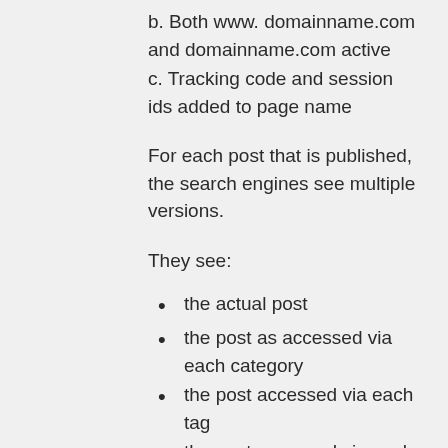b. Both www. domainname.com and domainname.com active
c. Tracking code and session ids added to page name
For each post that is published, the search engines see multiple versions.
They see:
the actual post
the post as accessed via each category
the post accessed via each tag
the post accessed via each category-to-tag combination
the post accessed via the month